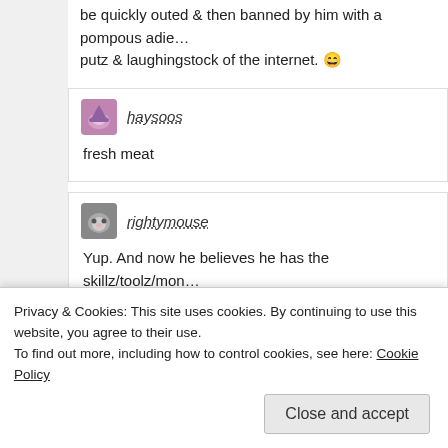be quickly outed & then banned by him with a pompous adie... putz & laughingstock of the internet. 😄
haysoos
fresh meat
rightymouse
Yup. And now he believes he has the skillz/toolz/mon...
Little does he know about the posters who continue to...
Privacy & Cookies: This site uses cookies. By continuing to use this website, you agree to their use.
To find out more, including how to control cookies, see here: Cookie Policy
Close and accept